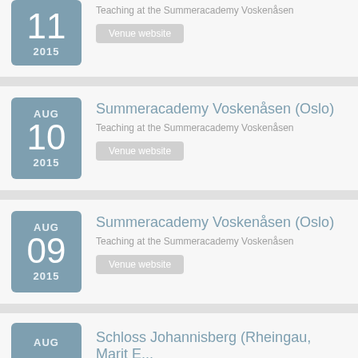AUG 11 2015 – Teaching at the Summeracademy Voskenåsen
AUG 10 2015 – Summeracademy Voskenåsen (Oslo) – Teaching at the Summeracademy Voskenåsen
AUG 09 2015 – Summeracademy Voskenåsen (Oslo) – Teaching at the Summeracademy Voskenåsen
AUG ... – Schloss Johannisberg (Rheingau, Marit E...)